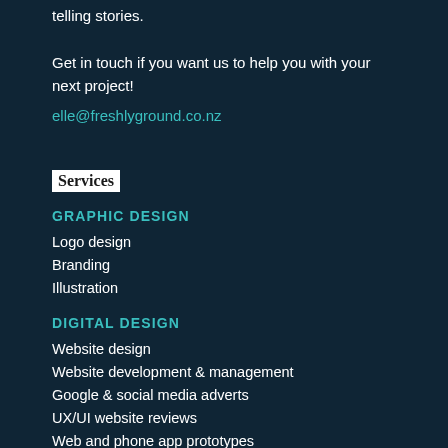telling stories. Get in touch if you want us to help you with your next project!
elle@freshlyground.co.nz
Services
GRAPHIC DESIGN
Logo design
Branding
Illustration
DIGITAL DESIGN
Website design
Website development & management
Google & social media adverts
UX/UI website reviews
Web and phone app prototypes